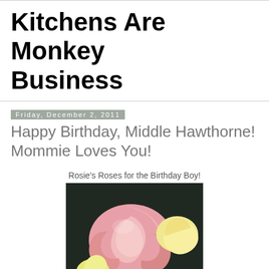Kitchens Are Monkey Business
Friday, December 2, 2011
Happy Birthday, Middle Hawthorne! Mommie Loves You!
Rosie's Roses for the Birthday Boy!
[Figure (photo): Close-up photo of pink and yellow roses against a dark background]